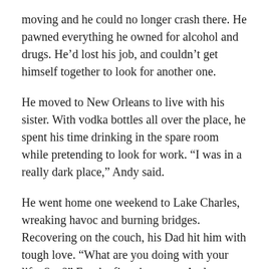moving and he could no longer crash there. He pawned everything he owned for alcohol and drugs. He’d lost his job, and couldn’t get himself together to look for another one.
He moved to New Orleans to live with his sister. With vodka bottles all over the place, he spent his time drinking in the spare room while pretending to look for work. “I was in a really dark place,” Andy said.
He went home one weekend to Lake Charles, wreaking havoc and burning bridges. Recovering on the couch, his Dad hit him with tough love. “What are you doing with your life, Son?” For the first time ever, Andy was honest. He admitted he had a problem with drugs and